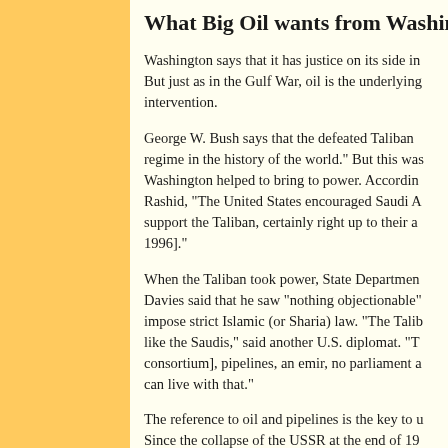What Big Oil wants from Washington's
Washington says that it has justice on its side in... But just as in the Gulf War, oil is the underlying... intervention.
George W. Bush says that the defeated Taliban... regime in the history of the world." But this was... Washington helped to bring to power. According... Rashid, "The United States encouraged Saudi A... support the Taliban, certainly right up to their a... 1996]."
When the Taliban took power, State Departmen... Davies said that he saw "nothing objectionable"... impose strict Islamic (or Sharia) law. "The Talib... like the Saudis," said another U.S. diplomat. "T... consortium], pipelines, an emir, no parliament a... can live with that."
The reference to oil and pipelines is the key to u... Since the collapse of the USSR at the end of 19... their friends in the State Department have been... of gaining access to the huge oil and natural gas... USSR republics in Central Asia that border the...